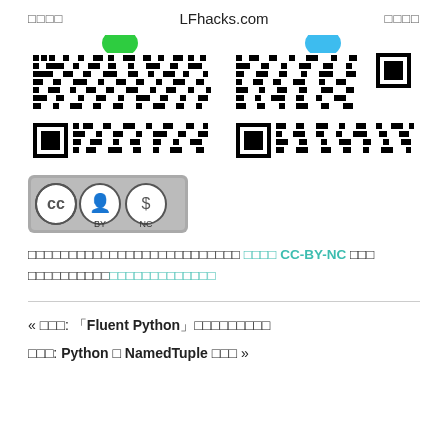□□□□   LFhacks.com   □□□□
[Figure (other): Two QR codes side by side, each with a colored circle (green and blue respectively) at the top center]
[Figure (logo): Creative Commons CC-BY-NC license badge]
□□□□□□□□□□□□□□□□□□□□□□□□□□ □□□□ CC-BY-NC □□□ □□□□□□□□□□□□□□□□□□□□□□□
« □□□: 「Fluent Python」□□□□□□□□□
□□□: Python □ NamedTuple □□□ »